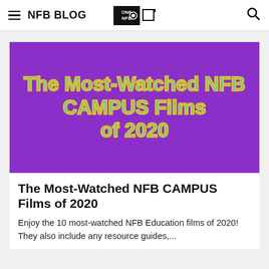NFB BLOG
[Figure (illustration): Purple banner image with teal outlined yellow text reading 'The Most-Watched NFB CAMPUS Films of 2020']
The Most-Watched NFB CAMPUS Films of 2020
Enjoy the 10 most-watched NFB Education films of 2020! They also include any resource guides,...